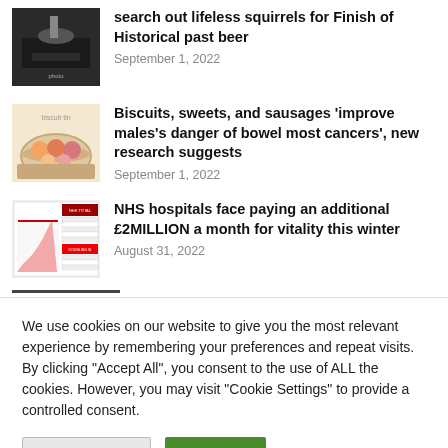[Figure (photo): Thumbnail image of liquid being poured, dark background]
search out lifeless squirrels for Finish of Historical past beer
September 1, 2022
[Figure (photo): Thumbnail image of a tin of biscuits and sweets]
Biscuits, sweets, and sausages 'improve males's danger of bowel most cancers', new research suggests
September 1, 2022
[Figure (infographic): Thumbnail of NHS hospitals infographic with chart and data table]
NHS hospitals face paying an additional £2MILLION a month for vitality this winter
August 31, 2022
We use cookies on our website to give you the most relevant experience by remembering your preferences and repeat visits. By clicking "Accept All", you consent to the use of ALL the cookies. However, you may visit "Cookie Settings" to provide a controlled consent.